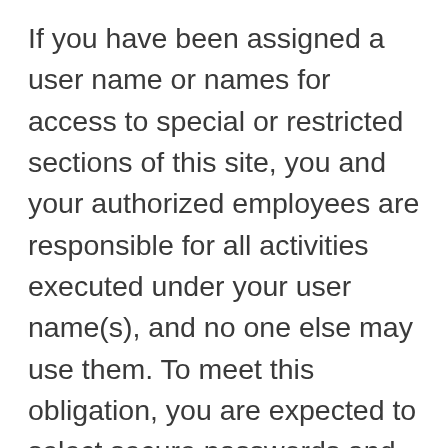If you have been assigned a user name or names for access to special or restricted sections of this site, you and your authorized employees are responsible for all activities executed under your user name(s), and no one else may use them. To meet this obligation, you are expected to select secure passwords and to keep them confidential. Allowing an unauthorized person to use your user name and its associated password, using the user name and password assigned to another person, or attempting to gain access to resources for which you are not authorized is a serious breach of security